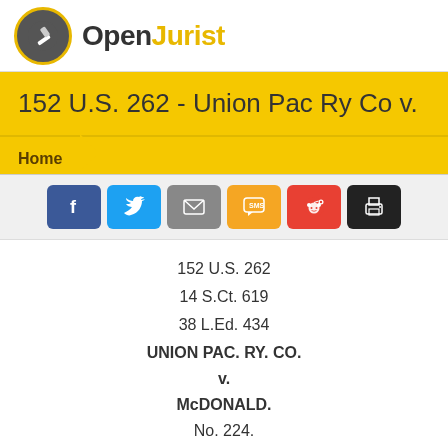OpenJurist
152 U.S. 262 - Union Pac Ry Co v.
Home
[Figure (other): Social share buttons: Facebook, Twitter, Email, SMS, Reddit, Print]
152 U.S. 262

14 S.Ct. 619

38 L.Ed. 434

UNION PAC. RY. CO.
v.
McDONALD.

No. 224.